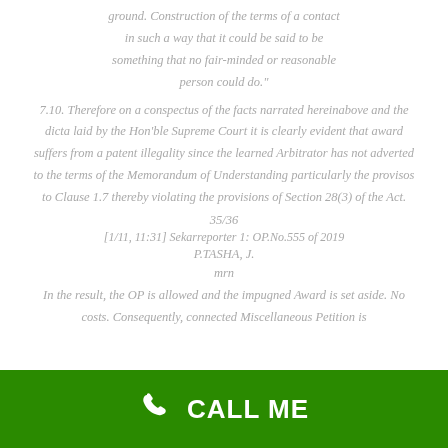ground. Construction of the terms of a contact in such a way that it could be said to be something that no fair-minded or reasonable person could do."
7.10. Therefore on a conspectus of the facts narrated hereinabove and the dicta laid by the Hon'ble Supreme Court it is clearly evident that award suffers from a patent illegality since the learned Arbitrator has not adverted to the terms of the Memorandum of Understanding particularly the provisos to Clause 1.7 thereby violating the provisions of Section 28(3) of the Act.
35/36
[1/11, 11:31] Sekarreporter 1: OP.No.555 of 2019
P.TASHA, J.
mrn
In the result, the OP is allowed and the impugned Award is set aside. No costs. Consequently, connected Miscellaneous Petition is
[Figure (other): Green footer bar with phone icon and CALL ME text]